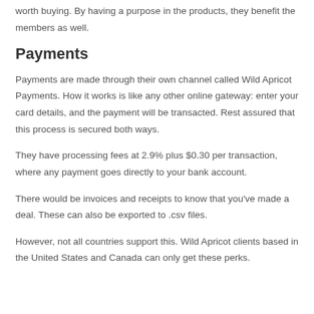worth buying. By having a purpose in the products, they benefit the members as well.
Payments
Payments are made through their own channel called Wild Apricot Payments. How it works is like any other online gateway: enter your card details, and the payment will be transacted. Rest assured that this process is secured both ways.
They have processing fees at 2.9% plus $0.30 per transaction, where any payment goes directly to your bank account.
There would be invoices and receipts to know that you've made a deal. These can also be exported to .csv files.
However, not all countries support this. Wild Apricot clients based in the United States and Canada can only get these perks.